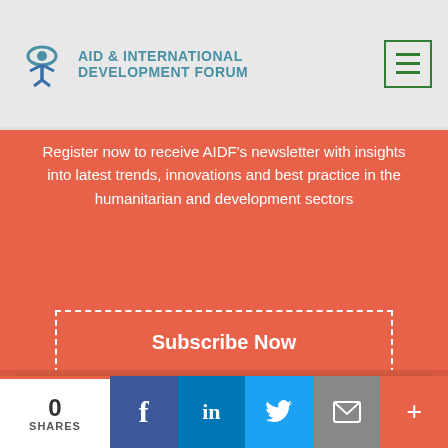[Figure (logo): Aid & International Development Forum logo with eye/person icon in teal and blue]
Register now to receive AIDF's newsletter with insights into latest trends, innovations and best practice in the humanitarian and development sectors
Subscribe Now
Join the conversation
0
SHARES